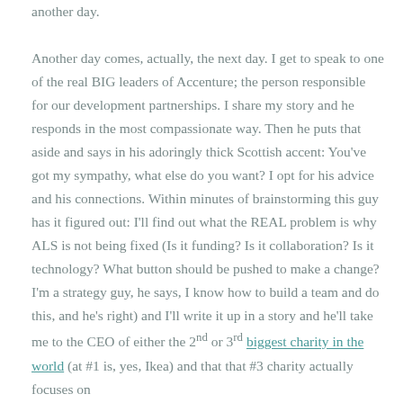another day.
Another day comes, actually, the next day. I get to speak to one of the real BIG leaders of Accenture; the person responsible for our development partnerships. I share my story and he responds in the most compassionate way. Then he puts that aside and says in his adoringly thick Scottish accent: You've got my sympathy, what else do you want? I opt for his advice and his connections. Within minutes of brainstorming this guy has it figured out: I'll find out what the REAL problem is why ALS is not being fixed (Is it funding? Is it collaboration? Is it technology? What button should be pushed to make a change? I'm a strategy guy, he says, I know how to build a team and do this, and he's right) and I'll write it up in a story and he'll take me to the CEO of either the 2nd or 3rd biggest charity in the world (at #1 is, yes, Ikea) and that that #3 charity actually focuses on